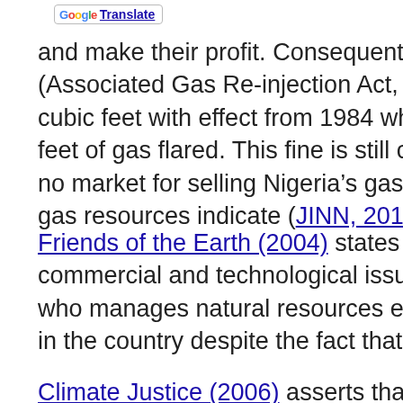[Figure (other): Google Translate button/widget with Google logo and Translate link]
and make their profit. Consequently the gas assoc (Associated Gas Re-injection Act, 1979) which all cubic feet with effect from 1984 which increased i feet of gas flared. This fine is still considered mea no market for selling Nigeria’s gas or the technolo gas resources indicate (JINN, 2010).
Friends of the Earth (2004) states that several other commercial and technological issues. On the othe who manages natural resources exploitation in Nig in the country despite the fact that flaring has bee
Climate Justice (2006) asserts that the SPDC’s (She Government of Nigeria (FGN) in meeting the 2008 just another down the road deadline that this gove